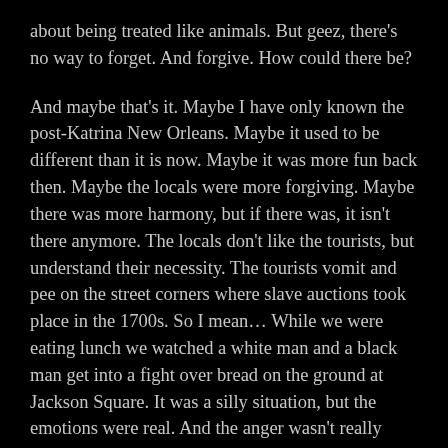about being treated like animals. But geez, there's no way to forget. And forgive. How could there be?
And maybe that's it. Maybe I have only known the post-Katrina New Orleans. Maybe it used to be different than it is now. Maybe it was more fun back then. Maybe the locals were more forgiving. Maybe there was more harmony, but if there was, it isn't there anymore. The locals don't like the tourists, but understand their necessity. The tourists vomit and pee on the street corners where slave auctions took place in the 1700s. So I mean… While we were eating lunch we watched a white man and a black man get into a fight over bread on the ground at Jackson Square. It was a silly situation, but the emotions were real. And the anger wasn't really about bread on the ground.